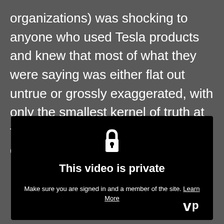organizations) was shocking to anyone who used Tesla products and knew that most of what they were saying was either flat out untrue or grossly exaggerated, with only the smallest kernel of truth at the core to sustain the illusion of credibility.
[Figure (screenshot): A video player showing a private video message. Black background with a white padlock icon at the top center, bold white text reading 'This video is private', and smaller white text below reading 'Make sure you are signed in and a member of the site. Learn More' with 'Learn More' underlined. A Vimeo logo appears in the bottom right corner.]